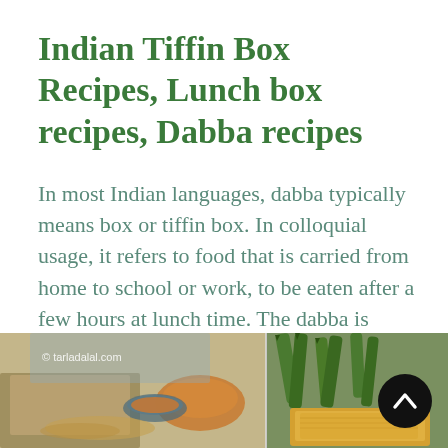Indian Tiffin Box Recipes, Lunch box recipes, Dabba recipes
In most Indian languages, dabba typically means box or tiffin box. In colloquial usage, it refers to food that is carried from home to school or work, to be eaten after a few hours at lunch time. The dabba is usually some kind of air-tight container that does not dry up or leak the contents and keeps it relatively fresh.
[Figure (photo): Two food photos side by side: left shows spices and grains on a cloth/map background with tarladalal.com watermark; right shows green okra/vegetables and a golden fried food item. A black circular scroll-to-top button overlays the right side.]